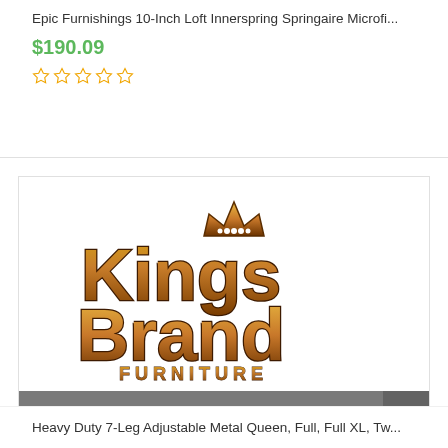Epic Furnishings 10-Inch Loft Innerspring Springaire Microfi...
$190.09
[Figure (other): Five empty star rating icons in orange/yellow outline]
[Figure (logo): Kings Brand Furniture logo — gold and brown gradient text with crown icon]
Buy product
Heavy Duty 7-Leg Adjustable Metal Queen, Full, Full XL, Tw...